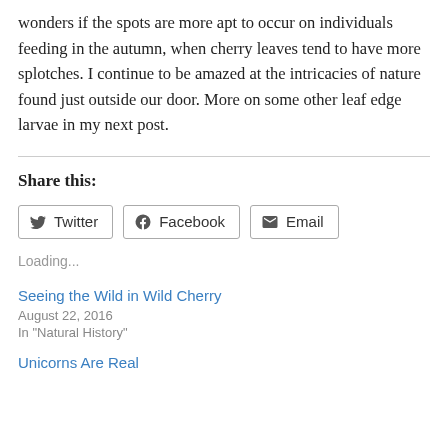wonders if the spots are more apt to occur on individuals feeding in the autumn, when cherry leaves tend to have more splotches. I continue to be amazed at the intricacies of nature found just outside our door. More on some other leaf edge larvae in my next post.
Share this:
Twitter | Facebook | Email
Loading...
Seeing the Wild in Wild Cherry
August 22, 2016
In "Natural History"
Unicorns Are Real